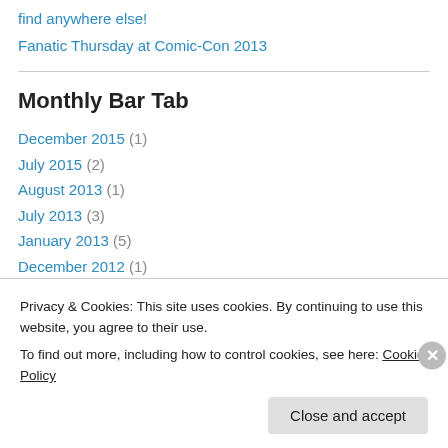find anywhere else!
Fanatic Thursday at Comic-Con 2013
Monthly Bar Tab
December 2015 (1)
July 2015 (2)
August 2013 (1)
July 2013 (3)
January 2013 (5)
December 2012 (1)
May 2012 (1)
April 2012 (1)
Privacy & Cookies: This site uses cookies. By continuing to use this website, you agree to their use. To find out more, including how to control cookies, see here: Cookie Policy
Close and accept